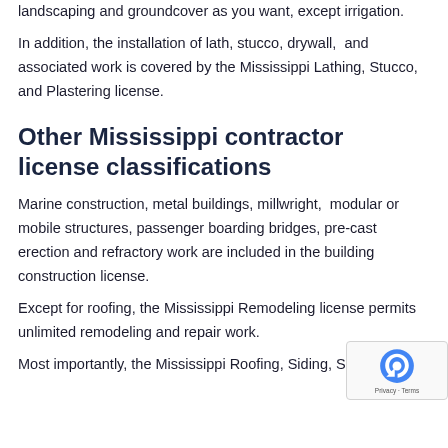landscaping and groundcover as you want, except irrigation.
In addition, the installation of lath, stucco, drywall, and associated work is covered by the Mississippi Lathing, Stucco, and Plastering license.
Other Mississippi contractor license classifications
Marine construction, metal buildings, millwright, modular or mobile structures, passenger boarding bridges, pre-cast erection and refractory work are included in the building construction license.
Except for roofing, the Mississippi Remodeling license permits unlimited remodeling and repair work.
Most importantly, the Mississippi Roofing, Siding, Sheet Metal